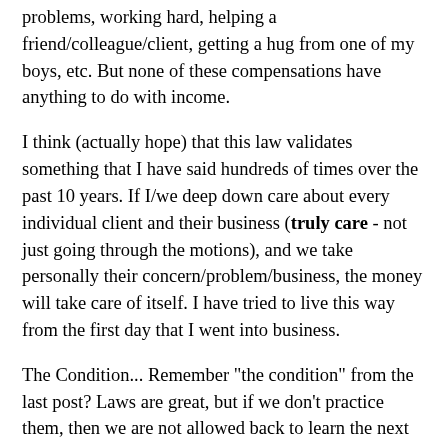problems, working hard, helping a friend/colleague/client, getting a hug from one of my boys, etc. But none of these compensations have anything to do with income.
I think (actually hope) that this law validates something that I have said hundreds of times over the past 10 years. If I/we deep down care about every individual client and their business (truly care - not just going through the motions), and we take personally their concern/problem/business, the money will take care of itself. I have tried to live this way from the first day that I went into business.
The Condition... Remember "the condition" from the last post? Laws are great, but if we don't practice them, then we are not allowed back to learn the next law. And as I mentioned, they are easy to execute. Here's my example of what I have done recently to reach out and try to serve. I'm not sure that I hit a home run with this one, but I'm learning too.
As I was reading The Go-Giver, I had many thoughts of the group of people who I influence (and who influence me) on a